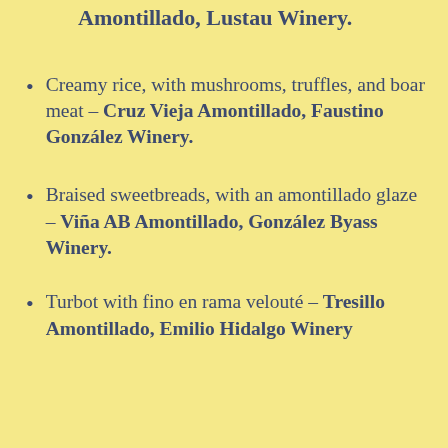Amontillado, Lustau Winery.
Creamy rice, with mushrooms, truffles, and boar meat – Cruz Vieja Amontillado, Faustino González Winery.
Braised sweetbreads, with an amontillado glaze – Viña AB Amontillado, González Byass Winery.
Turbot with fino en rama velouté – Tresillo Amontillado, Emilio Hidalgo Winery